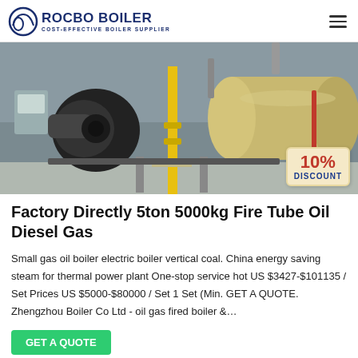ROCBO BOILER — COST-EFFECTIVE BOILER SUPPLIER
[Figure (photo): Industrial fire tube oil/diesel/gas boiler in a factory setting, showing a large horizontal boiler tank with a black burner unit on the left, yellow vertical pipe in the center, and additional tanks on the right. A 10% DISCOUNT badge is overlaid in the bottom-right corner.]
Factory Directly 5ton 5000kg Fire Tube Oil Diesel Gas
Small gas oil boiler electric boiler vertical coal. China energy saving steam for thermal power plant One-stop service hot US $3427-$101135 / Set Prices US $5000-$80000 / Set 1 Set (Min. GET A QUOTE. Zhengzhou Boiler Co Ltd - oil gas fired boiler &…